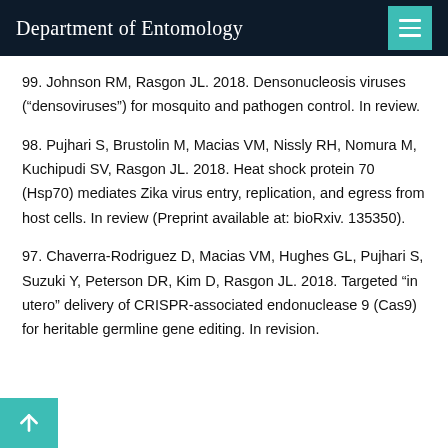Department of Entomology
99. Johnson RM, Rasgon JL. 2018. Densonucleosis viruses (“densoviruses”) for mosquito and pathogen control. In review.
98. Pujhari S, Brustolin M, Macias VM, Nissly RH, Nomura M, Kuchipudi SV, Rasgon JL. 2018. Heat shock protein 70 (Hsp70) mediates Zika virus entry, replication, and egress from host cells. In review (Preprint available at: bioRxiv. 135350).
97. Chaverra-Rodriguez D, Macias VM, Hughes GL, Pujhari S, Suzuki Y, Peterson DR, Kim D, Rasgon JL. 2018. Targeted “in utero” delivery of CRISPR-associated endonuclease 9 (Cas9) for heritable germline gene editing. In revision.